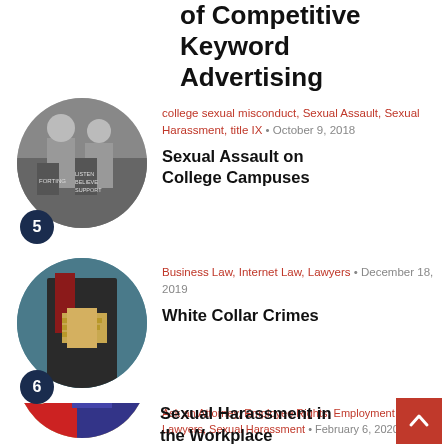of Competitive Keyword Advertising
[Figure (photo): Protesters holding signs at a rally, black and white photo in circular crop]
college sexual misconduct, Sexual Assault, Sexual Harassment, title IX • October 9, 2018
Sexual Assault on College Campuses
[Figure (photo): Person in suit concealing money in jacket pocket, circular crop]
Business Law, Internet Law, Lawyers • December 18, 2019
White Collar Crimes
[Figure (photo): Two people, one grabbing other's arm in confrontational pose, circular crop]
Ask an Attorney, Employee Rights, Employment Law, Lawyers, Sexual Harassment • February 6, 2020
Sexual Harassment in the Workplace